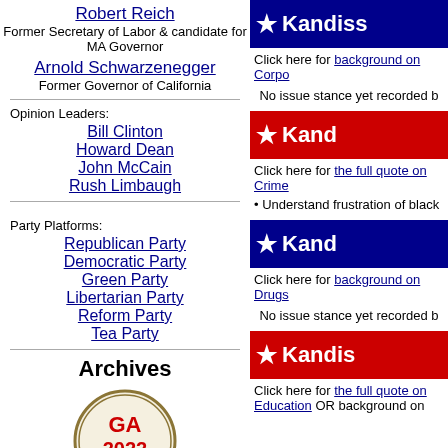Robert Reich - Former Secretary of Labor & candidate for MA Governor
Arnold Schwarzenegger - Former Governor of California
Opinion Leaders:
Bill Clinton
Howard Dean
John McCain
Rush Limbaugh
Party Platforms:
Republican Party
Democratic Party
Green Party
Libertarian Party
Reform Party
Tea Party
Archives
[Figure (logo): GA 2022 circular badge/seal logo]
[Figure (infographic): Blue banner with star and Kandiss text - corporate background section]
Click here for background on Corpo...
No issue stance yet recorded b...
[Figure (infographic): Red banner with star and Kand... text - Crime section]
Click here for the full quote on Crime...
Understand frustration of black...
[Figure (infographic): Blue banner with star and Kand... text - Drugs section]
Click here for background on Drugs...
No issue stance yet recorded b...
[Figure (infographic): Red banner with star and Kandis... text - Education section]
Click here for the full quote on Education OR background on...